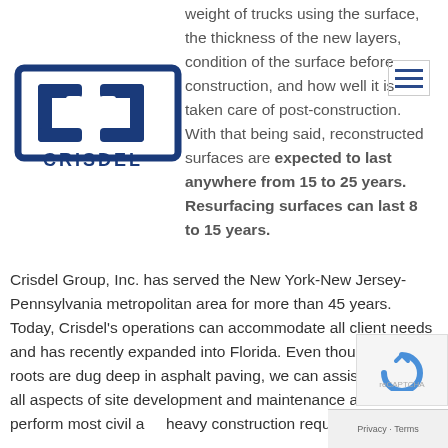[Figure (logo): Crisdel Group Inc. logo with two interlocking C shapes and 'CRISDEL' text below]
weight of trucks using the surface, the thickness of the new layers, condition of the surface before construction, and how well it is taken care of post-construction. With that being said, reconstructed surfaces are expected to last anywhere from 15 to 25 years. Resurfacing surfaces can last 8 to 15 years.
Crisdel Group, Inc. has served the New York-New Jersey-Pennsylvania metropolitan area for more than 45 years. Today, Crisdel's operations can accommodate all client needs and has recently expanded into Florida. Even though our roots are dug deep in asphalt paving, we can assist clients in all aspects of site development and maintenance as we self-perform most civil and heavy construction requirements.
We have met industry qualifications and have been